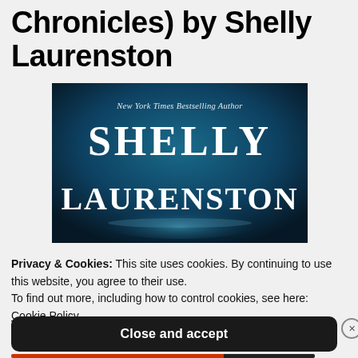Chronicles) by Shelly Laurenston
[Figure (illustration): Book cover image with dark teal/blue gradient background showing 'New York Times Bestselling Author' at top and 'SHELLY LAURENSTON' in large serif white letters with decorative styling]
Privacy & Cookies: This site uses cookies. By continuing to use this website, you agree to their use.
To find out more, including how to control cookies, see here: Cookie Policy
Close and accept